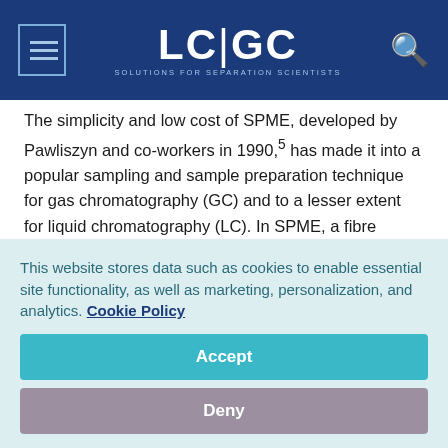LC|GC — SOLUTIONS FOR SEPARATION SCIENTISTS
The simplicity and low cost of SPME, developed by Pawliszyn and co-workers in 1990,5 has made it into a popular sampling and sample preparation technique for gas chromatography (GC) and to a lesser extent for liquid chromatography (LC). In SPME, a fibre coated with a stationary phase is placed into a solution or headspace and analytes diffuse or are moved by convection into the stationary phase. The concentrated analytes are transferred to a chromatography column by
This website stores data such as cookies to enable essential site functionality, as well as marketing, personalization, and analytics. Cookie Policy
Accept
Deny